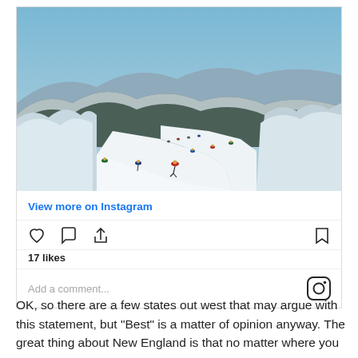[Figure (photo): Aerial view of skiers on a snowy mountain ski slope with snow-covered trees on both sides and mountain ridges in the background under a blue sky.]
View more on Instagram
17 likes
Add a comment...
OK, so there are a few states out west that may argue with this statement, but "Best" is a matter of opinion anyway. The great thing about New England is that no matter where you